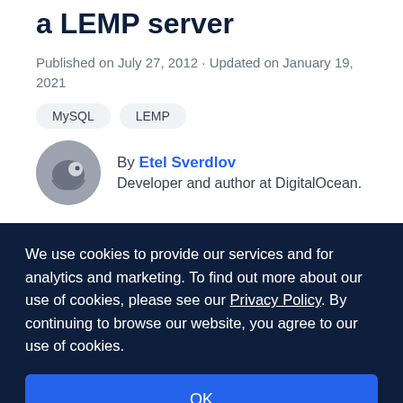a LEMP server
Published on July 27, 2012 · Updated on January 19, 2021
MySQL
LEMP
By Etel Sverdlov
Developer and author at DigitalOcean.
We use cookies to provide our services and for analytics and marketing. To find out more about our use of cookies, please see our Privacy Policy. By continuing to browse our website, you agree to our use of cookies.
OK